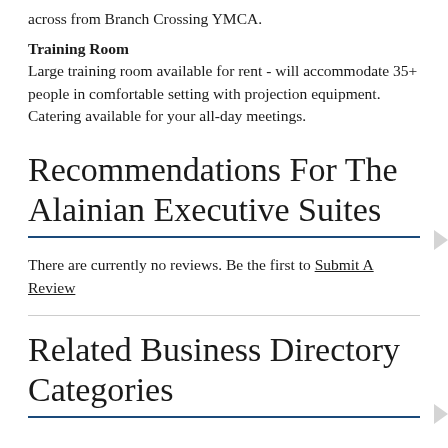across from Branch Crossing YMCA.
Training Room
Large training room available for rent - will accommodate 35+ people in comfortable setting with projection equipment. Catering available for your all-day meetings.
Recommendations For The Alainian Executive Suites
There are currently no reviews. Be the first to Submit A Review
Related Business Directory Categories